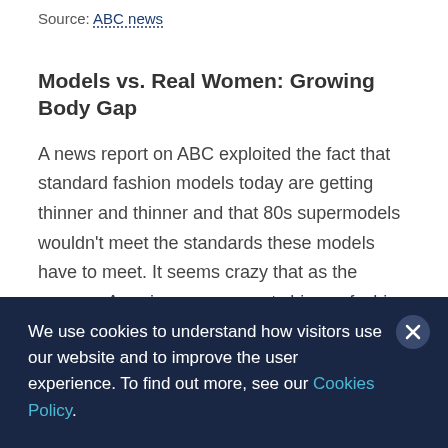Source: ABC news
Models vs. Real Women: Growing Body Gap
A news report on ABC exploited the fact that standard fashion models today are getting thinner and thinner and that 80s supermodels wouldn't meet the standards these models have to meet. It seems crazy that as the average American woman gets bigger, fashion models get smaller and the
We use cookies to understand how visitors use our website and to improve the user experience. To find out more, see our Cookies Policy.